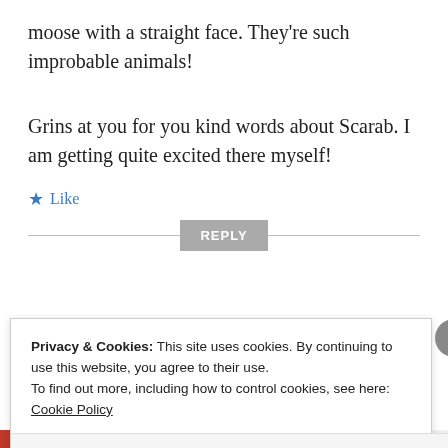moose with a straight face. They’re such improbable animals!
Grins at you for you kind words about Scarab. I am getting quite excited there myself!
★ Like
REPLY
Privacy & Cookies: This site uses cookies. By continuing to use this website, you agree to their use.
To find out more, including how to control cookies, see here: Cookie Policy
Close and accept